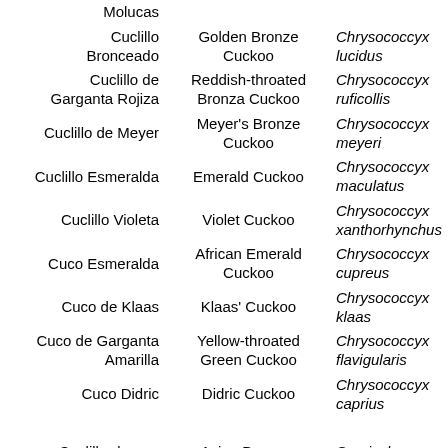| Spanish | English | Scientific |
| --- | --- | --- |
| Molucas |  |  |
| Cuclillo Bronceado | Golden Bronze Cuckoo | Chrysococcyx lucidus |
| Cuclillo de Garganta Rojiza | Reddish-throated Bronza Cuckoo | Chrysococcyx ruficollis |
| Cuclillo de Meyer | Meyer's Bronze Cuckoo | Chrysococcyx meyeri |
| Cuclillo Esmeralda | Emerald Cuckoo | Chrysococcyx maculatus |
| Cuclillo Violeta | Violet Cuckoo | Chrysococcyx xanthorhynchus |
| Cuco Esmeralda | African Emerald Cuckoo | Chrysococcyx cupreus |
| Cuco de Klaas | Klaas' Cuckoo | Chrysococcyx klaas |
| Cuco de Garganta Amarilla | Yellow-throated Green Cuckoo | Chrysococcyx flavigularis |
| Cuco Didric | Didric Cuckoo | Chrysococcyx caprius |
| Cuclillo-drongo | Asian Drongo- | Surniculus |